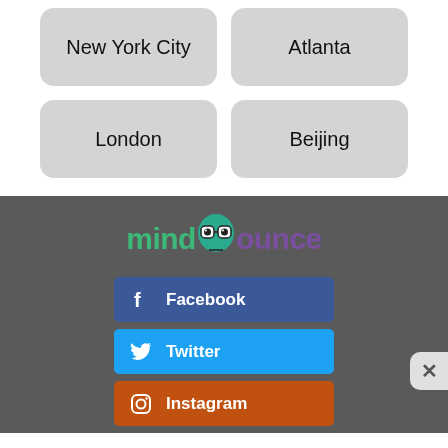New York City
Atlanta
London
Beijing
[Figure (logo): mindbounce logo with stylized owl eyes in the letter 'o']
Facebook
Twitter
Instagram